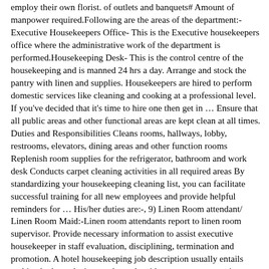employ their own florist. of outlets and banquets# Amount of manpower required.Following are the areas of the department:- Executive Housekeepers Office- This is the Executive housekeepers office where the administrative work of the department is performed.Housekeeping Desk- This is the control centre of the housekeeping and is manned 24 hrs a day. Arrange and stock the pantry with linen and supplies. Housekeepers are hired to perform domestic services like cleaning and cooking at a professional level. If you've decided that it's time to hire one then get in … Ensure that all public areas and other functional areas are kept clean at all times. Duties and Responsibilities Cleans rooms, hallways, lobby, restrooms, elevators, dining areas and other function rooms Replenish room supplies for the refrigerator, bathroom and work desk Conducts carpet cleaning activities in all required areas By standardizing your housekeeping cleaning list, you can facilitate successful training for all new employees and provide helpful reminders for … His/her duties are:-, 9) Linen Room attendant/ Linen Room Maid:-Linen room attendants report to linen room supervisor. Provide necessary information to assist executive housekeeper in staff evaluation, disciplining, termination and promotion. A hotel housekeeping job description usually entails making beds, replacing used towels with new ones, vacuuming carpets, and cleaning and disinfecting bathrooms and ensuring new toiletries provided by the hotel are placed at appropriate places. Using a cleaning checklist helps to keep your